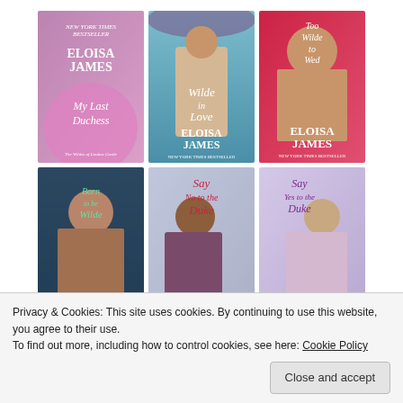[Figure (illustration): Grid of 6 romance novel book covers by Eloisa James: Row 1: My Last Duchess, Wilde in Love, Too Wilde to Wed. Row 2: Born to be Wilde, Say No to the Duke, Say Yes to the Duke.]
Privacy & Cookies: This site uses cookies. By continuing to use this website, you agree to their use.
To find out more, including how to control cookies, see here: Cookie Policy
Close and accept